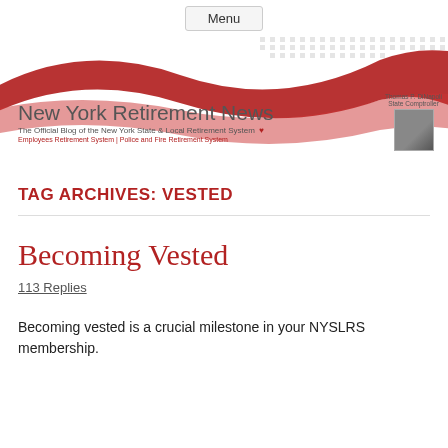Menu
[Figure (illustration): New York Retirement News banner with red wave graphic, blog title, subtitle 'The Official Blog of the New York State & Local Retirement System', and photo of Thomas P. DiNapoli, State Comptroller]
TAG ARCHIVES: VESTED
Becoming Vested
113 Replies
Becoming vested is a crucial milestone in your NYSLRS membership.